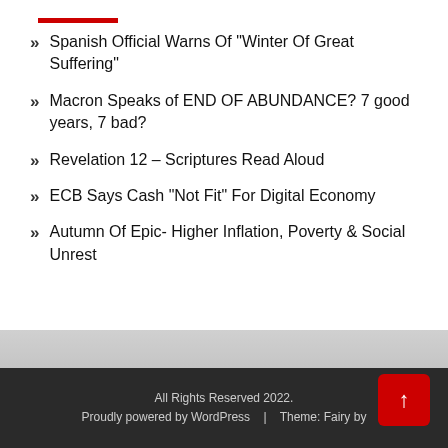Spanish Official Warns Of “Winter Of Great Suffering”
Macron Speaks of END OF ABUNDANCE? 7 good years, 7 bad?
Revelation 12 – Scriptures Read Aloud
ECB Says Cash “Not Fit” For Digital Economy
Autumn Of Epic- Higher Inflation, Poverty & Social Unrest
All Rights Reserved 2022.
Proudly powered by WordPress   |   Theme: Fairy by